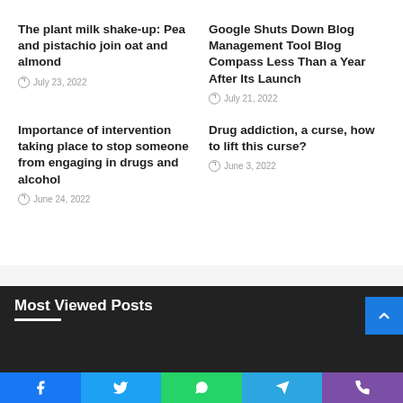The plant milk shake-up: Pea and pistachio join oat and almond
July 23, 2022
Google Shuts Down Blog Management Tool Blog Compass Less Than a Year After Its Launch
July 21, 2022
Importance of intervention taking place to stop someone from engaging in drugs and alcohol
June 24, 2022
Drug addiction, a curse, how to lift this curse?
June 3, 2022
Most Viewed Posts